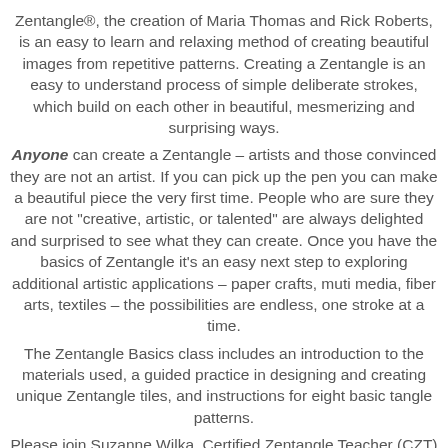Zentangle®, the creation of Maria Thomas and Rick Roberts, is an easy to learn and relaxing method of creating beautiful images from repetitive patterns. Creating a Zentangle is an easy to understand process of simple deliberate strokes, which build on each other in beautiful, mesmerizing and surprising ways.
Anyone can create a Zentangle – artists and those convinced they are not an artist. If you can pick up the pen you can make a beautiful piece the very first time. People who are sure they are not "creative, artistic, or talented" are always delighted and surprised to see what they can create. Once you have the basics of Zentangle it's an easy next step to exploring additional artistic applications – paper crafts, muti media, fiber arts, textiles – the possibilities are endless, one stroke at a time.
The Zentangle Basics class includes an introduction to the materials used, a guided practice in designing and creating unique Zentangle tiles, and instructions for eight basic tangle patterns.
Please join Suzanne Wilka, Certified Zentangle Teacher (CZT) for this introductory class in the Art of Zentangle. Your class fee includes a Starter kit of items needed to learn this